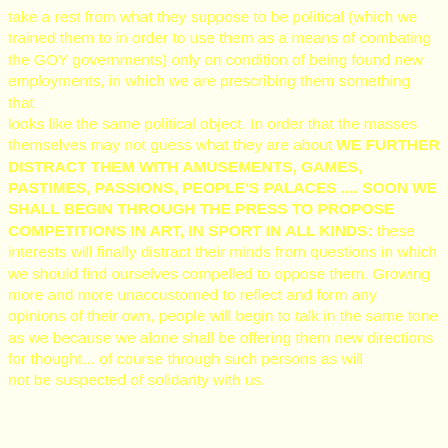take a rest from what they suppose to be political (which we trained them to in order to use them as a means of combating the GOY governments) only on condition of being found new employments, in which we are prescribing them something that looks like the same political object. In order that the masses themselves may not guess what they are about WE FURTHER DISTRACT THEM WITH AMUSEMENTS, GAMES, PASTIMES, PASSIONS, PEOPLE'S PALACES .... SOON WE SHALL BEGIN THROUGH THE PRESS TO PROPOSE COMPETITIONS IN ART, IN SPORT IN ALL KINDS: these interests will finally distract their minds from questions in which we should find ourselves compelled to oppose them. Growing more and more unaccustomed to reflect and form any opinions of their own, people will begin to talk in the same tone as we because we alone shall be offering them new directions for thought... of course through such persons as will not be suspected of solidarity with us.